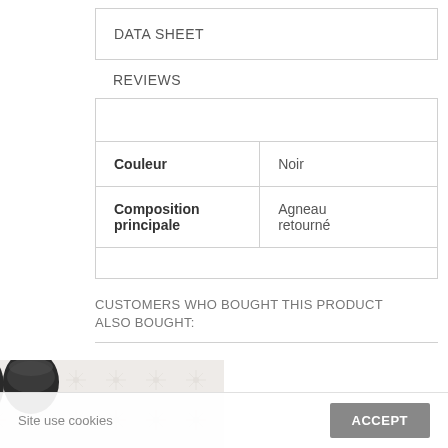DATA SHEET
REVIEWS
| Couleur | Noir |
| Composition principale | Agneau retourné |
CUSTOMERS WHO BOUGHT THIS PRODUCT ALSO BOUGHT:
[Figure (photo): Black boots product photo on a patterned sweater/textile background]
Site use cookies